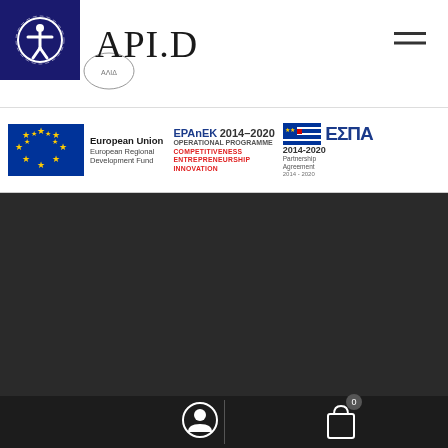[Figure (logo): APID fashion brand header with accessibility icon, logo text API.D, and hamburger menu]
[Figure (logo): EU funding banner with European Union European Regional Development Fund logo, EPAnEK 2014-2020 Operational Programme Competitiveness Entrepreneurship Innovation, and ESPA 2014-2020 Partnership Agreement logos]
[Figure (logo): Collezione by API.D circular seal logo on dark background]
Make your personal journey with style and glamorous aesthetics with us. fashion is our LOVE.
[Figure (other): Bottom navigation bar with user account icon and shopping bag icon with 0 badge]